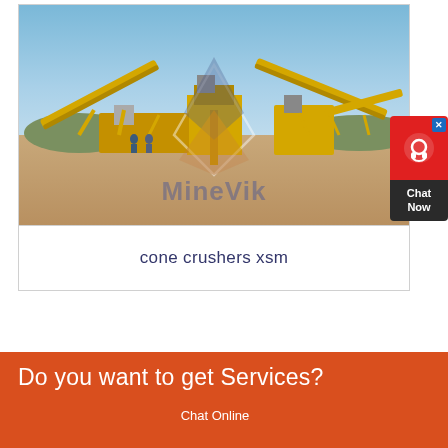[Figure (photo): Outdoor industrial mining/crushing plant with yellow conveyor belts and machinery under a clear blue sky. MineVik watermark logo (diamond shapes) overlaid in the center of the image.]
cone crushers xsm
Do you want to get Services?
Chat Online